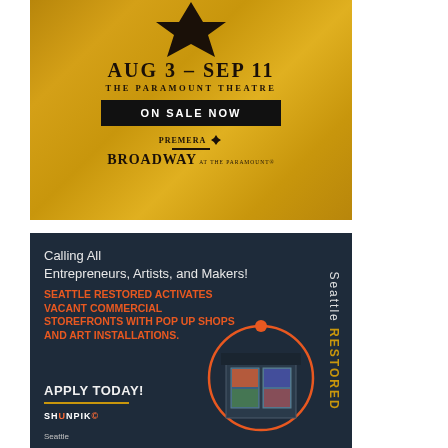[Figure (illustration): Hamilton musical advertisement. Gold textured background with black star at top. Text: AUG 3 - SEP 11, THE PARAMOUNT THEATRE, ON SALE NOW button, Premera Broadway at The Paramount logo.]
[Figure (illustration): Seattle Restored advertisement. Dark navy background. Text: Calling All Entrepreneurs, Artists, and Makers! SEATTLE RESTORED ACTIVATES VACANT COMMERCIAL STOREFRONTS WITH POP UP SHOPS AND ART INSTALLATIONS. APPLY TODAY! Shunpiko logo. Seattle text. Vertical 'Seattle RESTORED' text on right side. Storefront image with orange circle.]